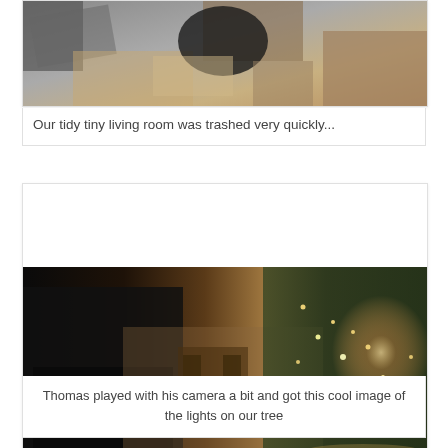[Figure (photo): Photo of a messy living room with boxes and items scattered around, viewed from above. Partial/cropped at top of page.]
Our tidy tiny living room was trashed very quickly...
[Figure (photo): A dim living room scene with a lit Christmas tree on the right side and a person in dark clothing on the left. Long exposure/artistic camera effect showing the lights.]
Thomas played with his camera a bit and got this cool image of the lights on our tree
After cleaning up, we went to church. Since it was Christmas, we only had Sacrament meeting, and we had it a few hours earlier than normal. We sang more songs than usual. It was a very uplifting meeting.
After church, we took a walk. Thomas wanted to get a